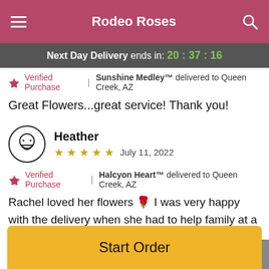Rodeo Roses
Next Day Delivery ends in: 20:37:16
Verified Purchase | Sunshine Medley™ delivered to Queen Creek, AZ
Great Flowers...great service! Thank you!
Heather  ★★★★★  July 11, 2022
Verified Purchase | Halcyon Heart™ delivered to Queen Creek, AZ
Rachel loved her flowers 🌹 I was very happy with the delivery when she had to help family at a different address - delivery was very understanding and got them to her quickly. Great service! Thank you
Start Order